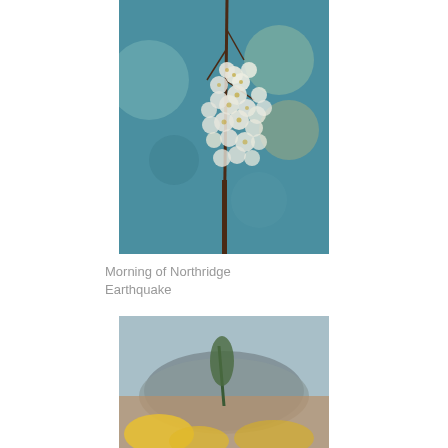[Figure (photo): Close-up photograph of white cherry blossoms or pear blossoms on a branch against a blurred teal/blue background]
Morning of Northridge Earthquake
[Figure (photo): Landscape photograph showing a mountain in the background with blurred yellow flowers in the foreground]